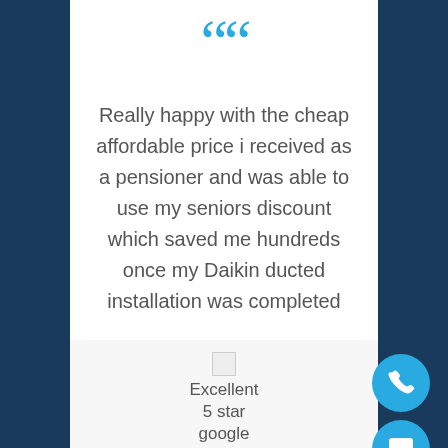[Figure (illustration): Large teal/blue decorative double quotation mark symbol at the top of a white card panel]
Really happy with the cheap affordable price i received as a pensioner and was able to use my seniors discount which saved me hundreds once my Daikin ducted installation was completed
[Figure (logo): Small broken image placeholder followed by text: Excellent, 5 star, google — a Trustpilot or Google reviews rating badge]
[Figure (illustration): Circular teal phone icon button on the right side]
[Figure (illustration): Circular teal chat/message icon button on the right side below the phone button]